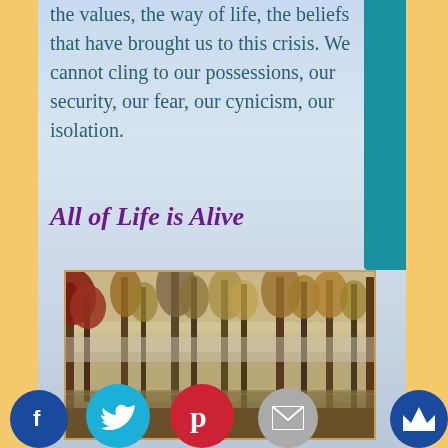the values, the way of life, the beliefs that have brought us to this crisis. We cannot cling to our possessions, our security, our fear, our cynicism, our isolation.
All of Life is Alive
[Figure (photo): Autumn forest scene with bare and red-leafed trees reflected in still water, misty atmospheric lighting]